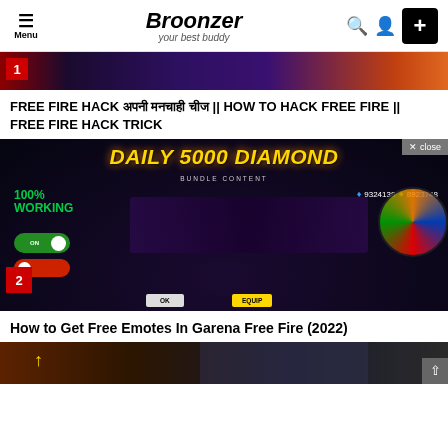Broonzer — your best buddy
[Figure (screenshot): Top portion of a gaming thumbnail with red badge showing number 1]
FREE FIRE HACK अपनी मनचाही चीज || HOW TO HACK FREE FIRE || FREE FIRE HACK TRICK
[Figure (screenshot): Free Fire hack screenshot showing DAILY 5000 DIAMOND, BUNDLE CONTENT, 100% WORKING, 9324138 diamonds and 8923748 coins, toggle ON, OK and EQUIP buttons, number 2 badge, and x close button]
How to Get Free Emotes In Garena Free Fire (2022)
[Figure (screenshot): Bottom portion of another gaming article thumbnail with a yellow arrow and a character]